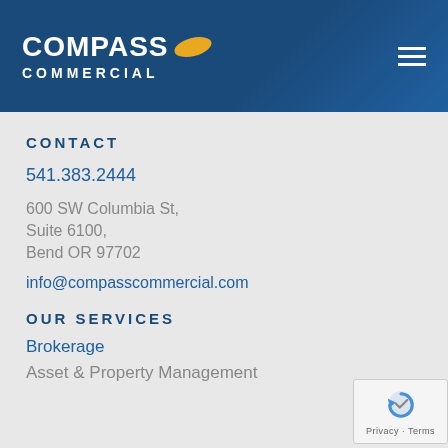[Figure (logo): Compass Commercial logo with yellow oval graphic and white text on dark blue header background, with hamburger menu icon top right]
CONTACT
541.383.2444
600 SW Columbia St,
Suite 6100,
Bend OR 97702
info@compasscommercial.com
OUR SERVICES
Brokerage
Asset & Property Management